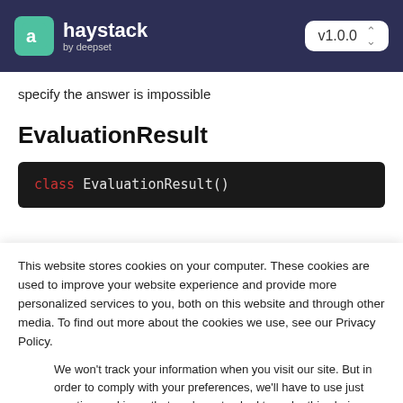haystack by deepset — v1.0.0
specify the answer is impossible
EvaluationResult
[Figure (screenshot): Code block showing: class EvaluationResult()]
This website stores cookies on your computer. These cookies are used to improve your website experience and provide more personalized services to you, both on this website and through other media. To find out more about the cookies we use, see our Privacy Policy.
We won't track your information when you visit our site. But in order to comply with your preferences, we'll have to use just one tiny cookie so that you're not asked to make this choice again.